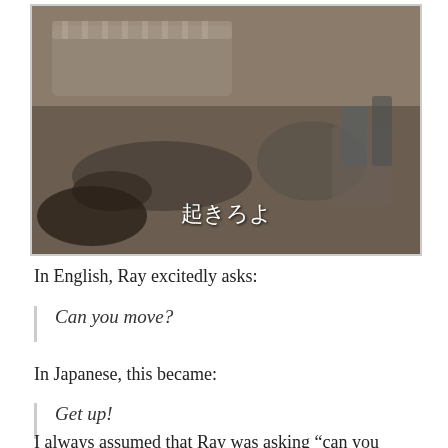[Figure (photo): Sepia-toned film screenshot showing figures on a floor, with Japanese subtitle text '起きろよ' overlaid at the bottom center]
In English, Ray excitedly asks:
Can you move?
In Japanese, this became:
Get up!
I always assumed that Ray was asking "can you